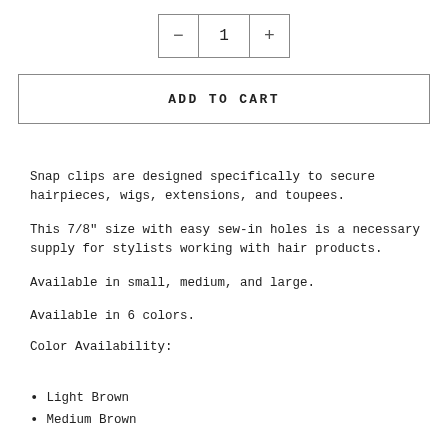[Figure (other): Quantity selector widget with minus button, number 1, and plus button in a bordered box]
ADD TO CART
Snap clips are designed specifically to secure hairpieces, wigs, extensions, and toupees.
This 7/8" size with easy sew-in holes is a necessary supply for stylists working with hair products.
Available in small, medium, and large.
Available in 6 colors.
Color Availability:
Light Brown
Medium Brown